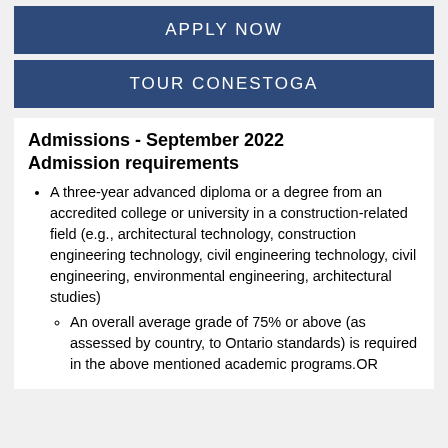APPLY NOW
TOUR CONESTOGA
Admissions - September 2022
Admission requirements
A three-year advanced diploma or a degree from an accredited college or university in a construction-related field (e.g., architectural technology, construction engineering technology, civil engineering technology, civil engineering, environmental engineering, architectural studies)
An overall average grade of 75% or above (as assessed by country, to Ontario standards) is required in the above mentioned academic programs.OR